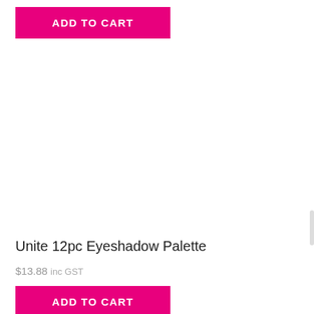[Figure (other): ADD TO CART button at top of product card, pink/magenta background]
Unite 12pc Eyeshadow Palette
$13.88 inc GST
[Figure (other): ADD TO CART button at bottom of product card, pink/magenta background]